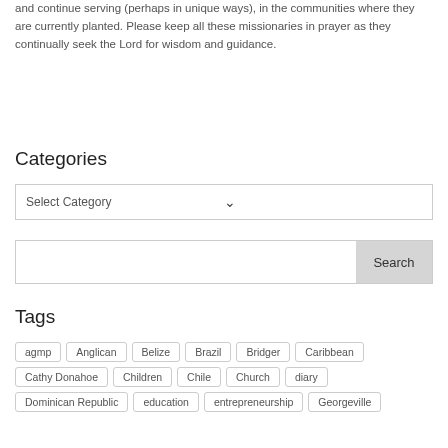and continue serving (perhaps in unique ways), in the communities where they are currently planted. Please keep all these missionaries in prayer as they continually seek the Lord for wisdom and guidance.
Categories
Select Category
Search
Tags
agmp
Anglican
Belize
Brazil
Bridger
Caribbean
Cathy Donahoe
Children
Chile
Church
diary
Dominican Republic
education
entrepreneurship
Georgeville